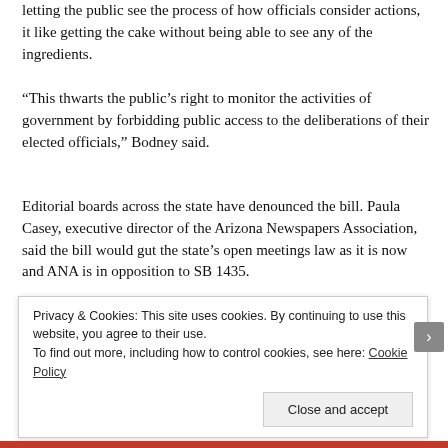letting the public see the process of how officials consider actions, it like getting the cake without being able to see any of the ingredients.
“This thwarts the public’s right to monitor the activities of government by forbidding public access to the deliberations of their elected officials,” Bodney said.
Editorial boards across the state have denounced the bill. Paula Casey, executive director of the Arizona Newspapers Association, said the bill would gut the state’s open meetings law as it is now and ANA is in opposition to SB 1435.
Allen and supporters argue that it would allow smaller governing boards in rural areas of the state to discuss business without being caught up in the requirement to meet in public.
Privacy & Cookies: This site uses cookies. By continuing to use this website, you agree to their use.
To find out more, including how to control cookies, see here: Cookie Policy